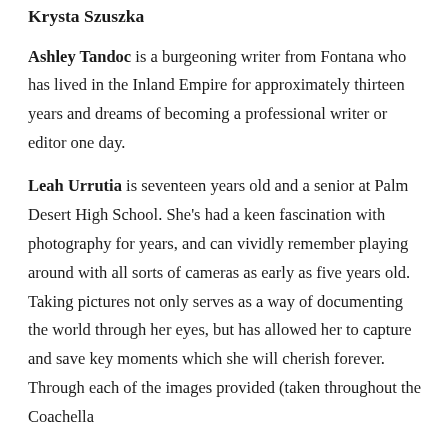Krysta Szuszka
Ashley Tandoc is a burgeoning writer from Fontana who has lived in the Inland Empire for approximately thirteen years and dreams of becoming a professional writer or editor one day.
Leah Urrutia is seventeen years old and a senior at Palm Desert High School. She’s had a keen fascination with photography for years, and can vividly remember playing around with all sorts of cameras as early as five years old. Taking pictures not only serves as a way of documenting the world through her eyes, but has allowed her to capture and save key moments which she will cherish forever. Through each of the images provided (taken throughout the Coachella